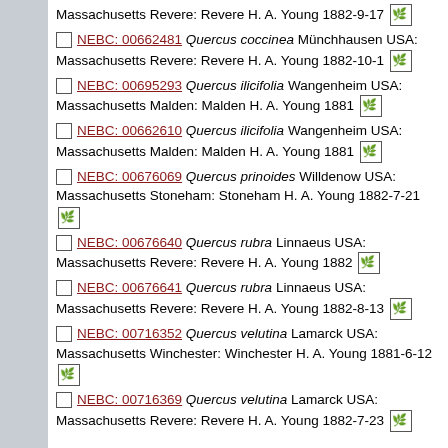Massachusetts Revere: Revere H. A. Young 1882-9-17 [leaf icon]
NEBC: 00662481 Quercus coccinea Münchhausen USA: Massachusetts Revere: Revere H. A. Young 1882-10-1 [leaf icon]
NEBC: 00695293 Quercus ilicifolia Wangenheim USA: Massachusetts Malden: Malden H. A. Young 1881 [leaf icon]
NEBC: 00662610 Quercus ilicifolia Wangenheim USA: Massachusetts Malden: Malden H. A. Young 1881 [leaf icon]
NEBC: 00676069 Quercus prinoides Willdenow USA: Massachusetts Stoneham: Stoneham H. A. Young 1882-7-21 [leaf icon]
NEBC: 00676640 Quercus rubra Linnaeus USA: Massachusetts Revere: Revere H. A. Young 1882 [leaf icon]
NEBC: 00676641 Quercus rubra Linnaeus USA: Massachusetts Revere: Revere H. A. Young 1882-8-13 [leaf icon]
NEBC: 00716352 Quercus velutina Lamarck USA: Massachusetts Winchester: Winchester H. A. Young 1881-6-12 [leaf icon]
NEBC: 00716369 Quercus velutina Lamarck USA: Massachusetts Revere: Revere H. A. Young 1882-7-23 [leaf icon]